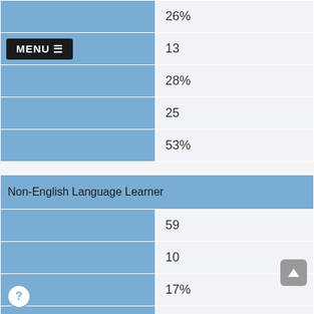| Category | Value |
| --- | --- |
|  | 26% |
| MENU | 13 |
|  | 28% |
|  | 25 |
|  | 53% |
| Non-English Language Learner |  |
|  | 59 |
|  | 10 |
|  | 17% |
|  | 17 |
|  | 29% |
|  | 15 |